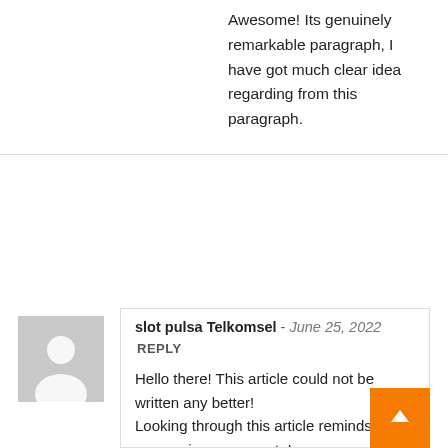Awesome! Its genuinely remarkable paragraph, I have got much clear idea regarding from this paragraph.
[Figure (illustration): Gray placeholder avatar with person silhouette]
slot pulsa Telkomsel - June 25, 2022  REPLY
Hello there! This article could not be written any better! Looking through this article reminds me of my previous roommate! He constantly kept talking about this. I most certainly will forward this article to him. Fairly certain he'll have a good read. Many thanks for sharing!